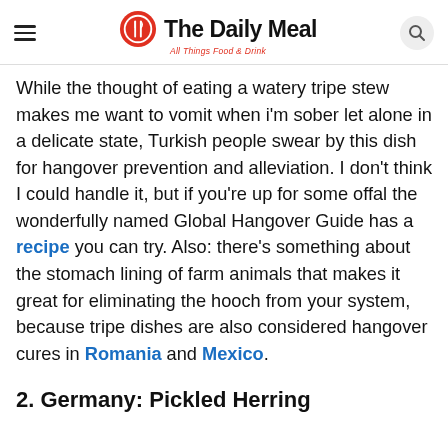The Daily Meal — All Things Food & Drink
While the thought of eating a watery tripe stew makes me want to vomit when i'm sober let alone in a delicate state, Turkish people swear by this dish for hangover prevention and alleviation. I don't think I could handle it, but if you're up for some offal the wonderfully named Global Hangover Guide has a recipe you can try. Also: there's something about the stomach lining of farm animals that makes it great for eliminating the hooch from your system, because tripe dishes are also considered hangover cures in Romania and Mexico.
2. Germany: Pickled Herring